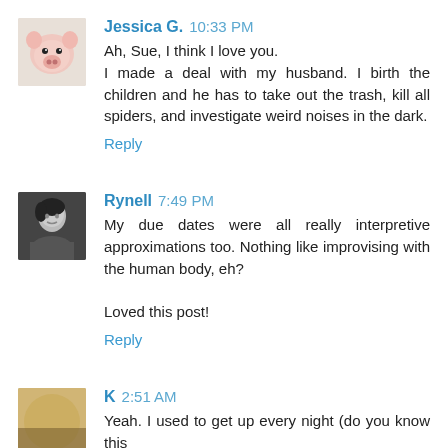[Figure (photo): Avatar image of Jessica G., showing a pig figurine/toy]
Jessica G.  10:33 PM
Ah, Sue, I think I love you.
I made a deal with my husband. I birth the children and he has to take out the trash, kill all spiders, and investigate weird noises in the dark.
Reply
[Figure (photo): Avatar image of Rynell, a black and white photo of a woman]
Rynell  7:49 PM
My due dates were all really interpretive approximations too. Nothing like improvising with the human body, eh?

Loved this post!
Reply
[Figure (photo): Avatar image of K, showing a blurry/golden colored photo]
K  2:51 AM
Yeah. I used to get up every night (do you know this